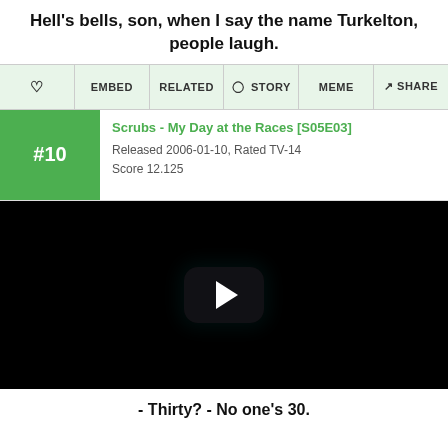Hell's bells, son, when I say the name Turkelton, people laugh.
♡  EMBED  RELATED  ☆ STORY  MEME  ↑ SHARE
#10  Scrubs - My Day at the Races [S05E03]  Released 2006-01-10, Rated TV-14  Score 12.125
[Figure (screenshot): Black video player with centered play button (rounded rectangle overlay with white triangle)]
- Thirty? - No one's 30.